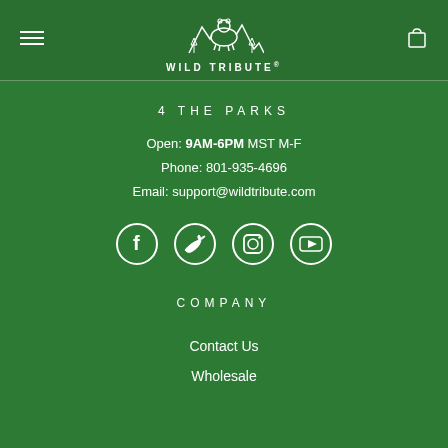Wild Tribute — navigation header with menu icon, logo, and cart icon
4 THE PARKS
Open: 9AM-6PM MST M-F
Phone: 801-935-4696
Email: support@wildtribute.com
[Figure (infographic): Social media icons in circles: Facebook, Twitter, Instagram, YouTube]
COMPANY
Contact Us
Wholesale